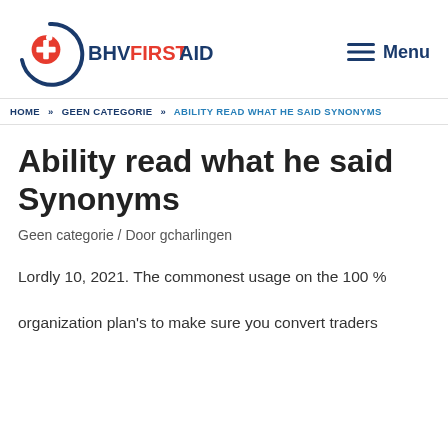BHV FIRST AID — Menu
HOME » GEEN CATEGORIE » ABILITY READ WHAT HE SAID SYNONYMS
Ability read what he said Synonyms
Geen categorie / Door gcharlingen
Lordly 10, 2021. The commonest usage on the 100 % organization plan's to make sure you convert traders